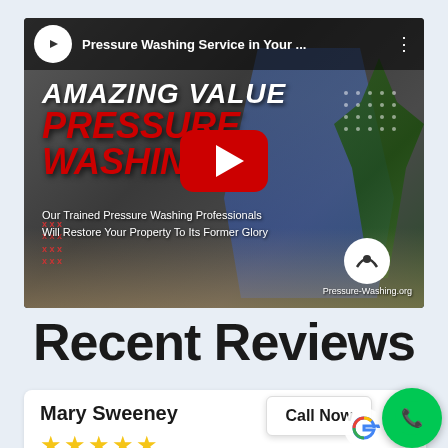[Figure (screenshot): YouTube video thumbnail for 'Pressure Washing Service in Your ...' showing a person pressure washing a surface. Overlaid text reads 'AMAZING VALUE' and 'PRESSURE WASHING' in red italic. Subtitle text: 'Our Trained Pressure Washing Professionals Will Restore Your Property To Its Former Glory'. YouTube play button in center. Pressure-Washing.org logo bottom right.]
Recent Reviews
Mary Sweeney
★★★★★
Call Now